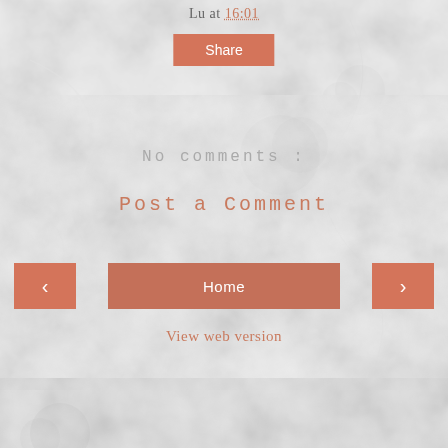Lu at 16:01
Share
No comments :
Post a Comment
<
Home
>
View web version